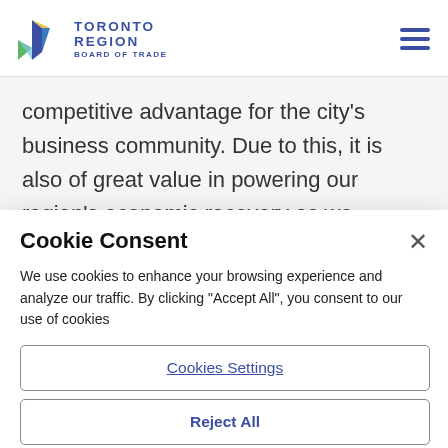TORONTO REGION BOARD OF TRADE
competitive advantage for the city's business community. Due to this, it is also of great value in powering our region's economic recovery as we
Cookie Consent
We use cookies to enhance your browsing experience and analyze our traffic. By clicking "Accept All", you consent to our use of cookies
Cookies Settings
Reject All
Accept All Cookies